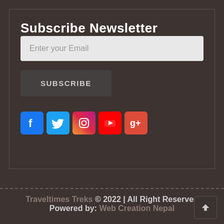Subscribe Newsletter
Enter your Email
SUBSCRIBE
[Figure (other): Row of 5 social media icons: Facebook (blue), Twitter (light blue), Instagram (gradient), YouTube (red), Google+ (red-orange)]
Traveltimes Treks © 2022 | All Right Reserved
Powered by: Web Creation Nepal